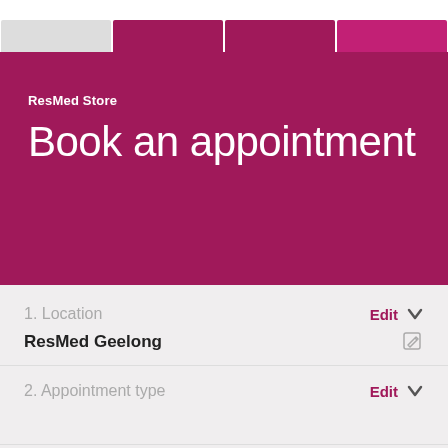[Figure (screenshot): Navigation bar with purple tab indicators at top]
ResMed Store
Book an appointment
1. Location
Edit
ResMed Geelong
2. Appointment type
Edit
3. Appointment format